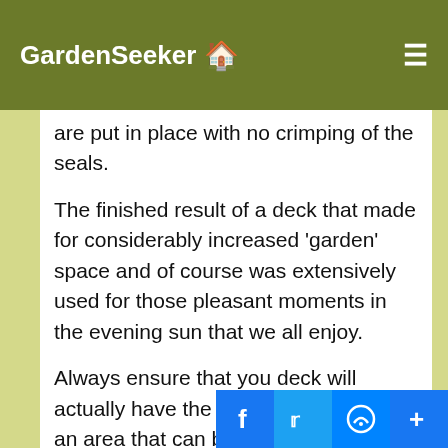GardenSeeker 🏠
are put in place with no crimping of the seals.
The finished result of a deck that made for considerably increased 'garden' space and of course was extensively used for those pleasant moments in the evening sun that we all enjoy.
Always ensure that you deck will actually have the floor space to make it an area that can be used for all manner of purposes - from doing the ironing on a nice day, to enjoying the al fr… drink.